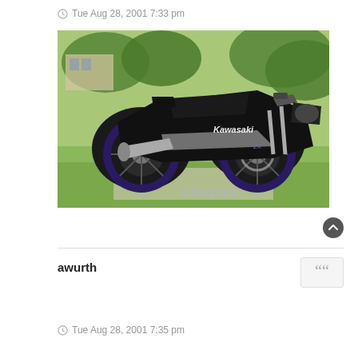Tue Aug 28, 2001 7:33 pm
[Figure (photo): Black Kawasaki sport motorcycle with purple/violet wheels parked on grass, side profile view. Watermark 'bikepics' in lower right corner.]
awurth
Tue Aug 28, 2001 7:35 pm